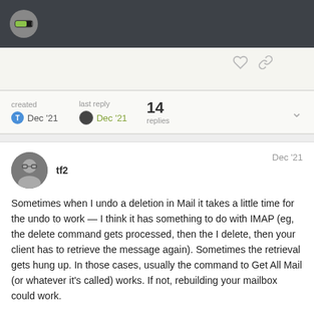Forum navigation bar with logo
created Dec '21   last reply Dec '21   14 replies
tf2   Dec '21

Sometimes when I undo a deletion in Mail it takes a little time for the undo to work — I think it has something to do with IMAP (eg, the delete command gets processed, then the I delete, then your client has to retrieve the message again). Sometimes the retrieval gets hung up. In those cases, usually the command to Get All Mail (or whatever it's called) works. If not, rebuilding your mailbox could work.

As a faster option in this instance, consider using your email provider's web interface to pull it from the t
1 / 15